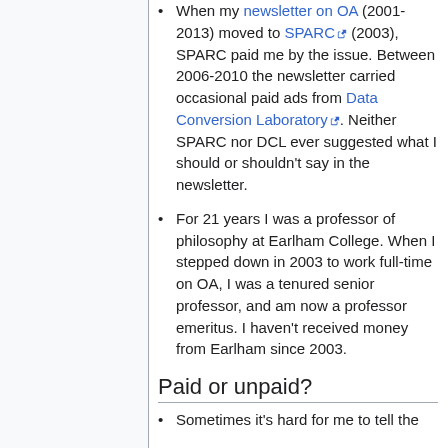When my newsletter on OA (2001-2013) moved to SPARC (2003), SPARC paid me by the issue. Between 2006-2010 the newsletter carried occasional paid ads from Data Conversion Laboratory. Neither SPARC nor DCL ever suggested what I should or shouldn't say in the newsletter.
For 21 years I was a professor of philosophy at Earlham College. When I stepped down in 2003 to work full-time on OA, I was a tenured senior professor, and am now a professor emeritus. I haven't received money from Earlham since 2003.
Paid or unpaid?
Sometimes it's hard for me to tell the